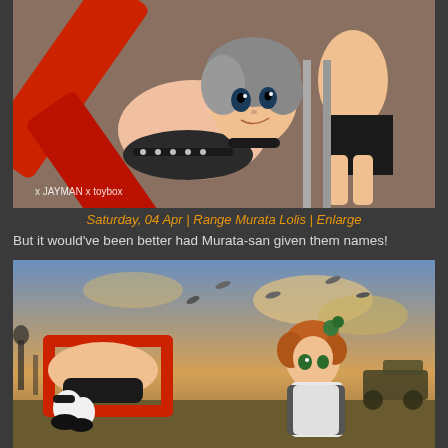[Figure (photo): Close-up photo of anime-style figurines. A girl figure in black bikini-style outfit lying on a red X-shaped prop, with another figure in dark clothing visible in the background. Watermark reads 'x JAYMAN x toybox' in bottom left.]
Saturday, 04 Apr | Range Murata Lolis | Enlarge
But it would've been better had Murata-san given them names!
[Figure (photo): Photo of anime-style figurines in a diorama setting with a war/battlefield painted background. One figure in black outfit lies on a red square frame prop, and another figure dressed as a maid with orange hair stands nearby. Military scene backdrop visible.]